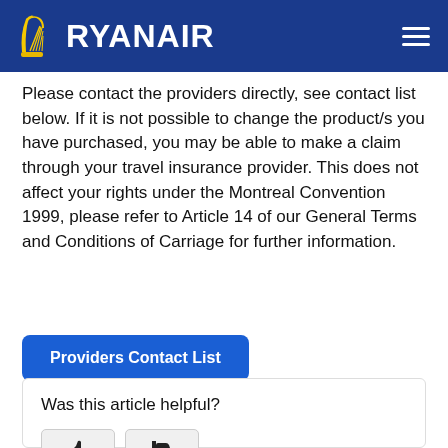RYANAIR
Please contact the providers directly, see contact list below. If it is not possible to change the product/s you have purchased, you may be able to make a claim through your travel insurance provider. This does not affect your rights under the Montreal Convention 1999, please refer to Article 14 of our General Terms and Conditions of Carriage for further information.
Providers Contact List
Was this article helpful?